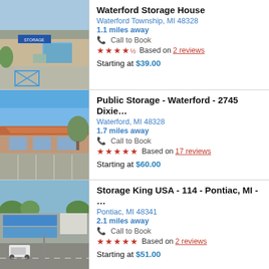[Figure (photo): Exterior photo of Waterford Storage House building]
Waterford Storage House
Waterford Township, MI 48328
1.1 miles away
Call to Book
★★★★½ Based on 2 reviews
Starting at $39.00
[Figure (photo): Exterior photo of Public Storage Waterford building]
Public Storage - Waterford - 2745 Dixie…
Waterford, MI 48328
1.7 miles away
Call to Book
★★★★★ Based on 17 reviews
Starting at $60.00
[Figure (photo): Aerial exterior photo of Storage King USA Pontiac location]
Storage King USA - 114 - Pontiac, MI - …
Pontiac, MI 48341
2.1 miles away
Call to Book
★★★★★ Based on 2 reviews
Starting at $51.00